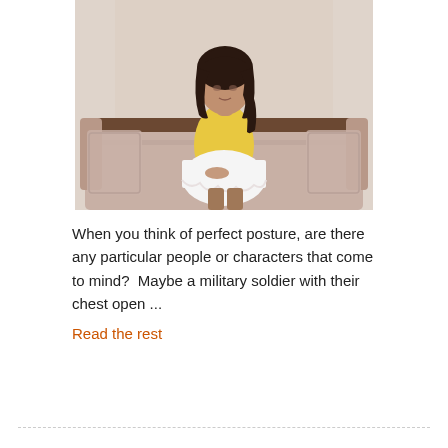[Figure (photo): A young woman with dark hair wearing a yellow sleeveless top and white ruffled skirt, sitting on a floral/vintage sofa with white curtains in the background.]
When you think of perfect posture, are there any particular people or characters that come to mind?  Maybe a military soldier with their chest open ...
Read the rest